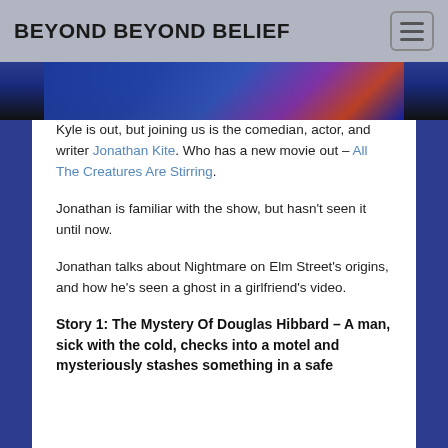BEYOND BEYOND BELIEF
[Figure (photo): Partial image strip showing a dark scene with blue and purple tones, partially cropped at top of content area]
Kyle is out, but joining us is the comedian, actor, and writer Jonathan Kite. Who has a new movie out – All The Creatures Are Stirring.
Jonathan is familiar with the show, but hasn't seen it until now.
Jonathan talks about Nightmare on Elm Street's origins, and how he's seen a ghost in a girlfriend's video.
Story 1: The Mystery Of Douglas Hibbard – A man, sick with the cold, checks into a motel and mysteriously stashes something in a safe